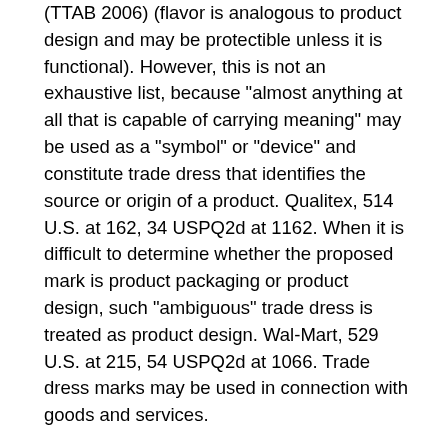(TTAB 2006) (flavor is analogous to product design and may be protectible unless it is functional). However, this is not an exhaustive list, because "almost anything at all that is capable of carrying meaning" may be used as a "symbol" or "device" and constitute trade dress that identifies the source or origin of a product. Qualitex, 514 U.S. at 162, 34 USPQ2d at 1162. When it is difficult to determine whether the proposed mark is product packaging or product design, such "ambiguous" trade dress is treated as product design. Wal-Mart, 529 U.S. at 215, 54 USPQ2d at 1066. Trade dress marks may be used in connection with goods and services.
In some cases, the nature of a potential trade dress mark may not be readily apparent. A determination of whether the mark constitutes trade dress must be informed by the application content, including the drawing, the description of the mark, the identification of goods or services, and the specimen, if any. If it remains unclear whether the mark constitutes trade dress, the examining